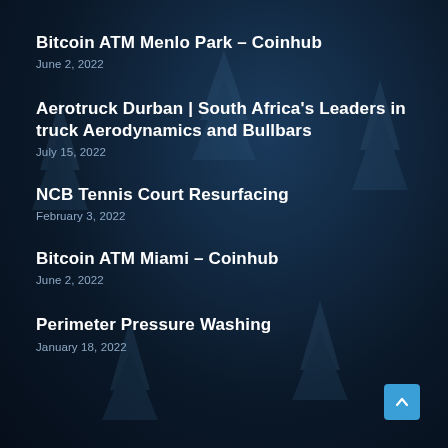Bitcoin ATM Menlo Park – Coinhub
June 2, 2022
Aerotruck Durban | South Africa's Leaders in truck Aerodynamics and Bullbars
July 15, 2022
NCB Tennis Court Resurfacing
February 3, 2022
Bitcoin ATM Miami – Coinhub
June 2, 2022
Perimeter Pressure Washing
January 18, 2022